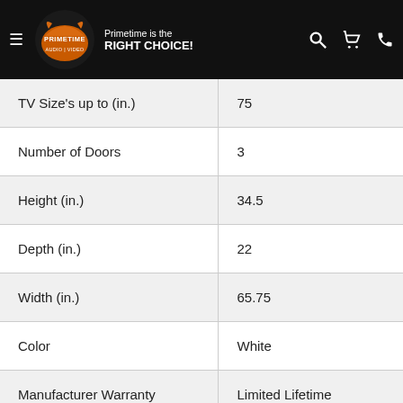Primetime is the RIGHT CHOICE! — Primetime Audio/Video
| TV Size's up to (in.) | 75 |
| Number of Doors | 3 |
| Height (in.) | 34.5 |
| Depth (in.) | 22 |
| Width (in.) | 65.75 |
| Color | White |
| Manufacturer Warranty | Limited Lifetime |